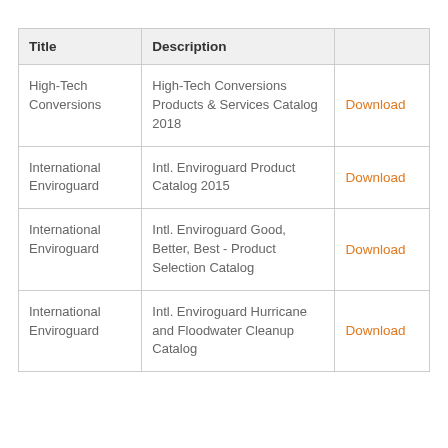| Title | Description |  |
| --- | --- | --- |
| High-Tech Conversions | High-Tech Conversions Products & Services Catalog 2018 | Download |
| International Enviroguard | Intl. Enviroguard Product Catalog 2015 | Download |
| International Enviroguard | Intl. Enviroguard Good, Better, Best - Product Selection Catalog | Download |
| International Enviroguard | Intl. Enviroguard Hurricane and Floodwater Cleanup Catalog | Download |